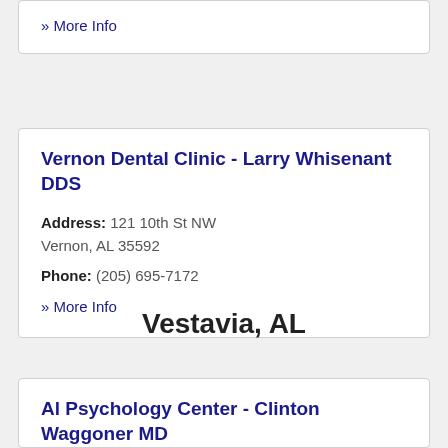» More Info
Vernon Dental Clinic - Larry Whisenant DDS
Address: 121 10th St NW
Vernon, AL 35592
Phone: (205) 695-7172
» More Info
Vestavia, AL
Al Psychology Center - Clinton Waggoner MD